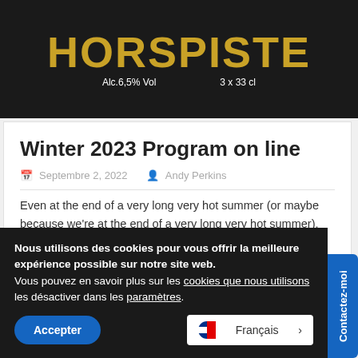[Figure (photo): Dark background product photo showing beer bottles with 'HORSPISTE' branding in gold letters, with text 'Alc.6,5% Vol' and '3 x 33 cl']
Winter 2023 Program on line
Septembre 2, 2022  Andy Perkins
Even at the end of a very long very hot summer (or maybe because we're at the end of a very long very hot summer), the head of steam for [...]
Nous utilisons des cookies pour vous offrir la meilleure expérience possible sur notre site web.
Vous pouvez en savoir plus sur les cookies que nous utilisons les désactiver dans les paramètres.
Accepter
Français